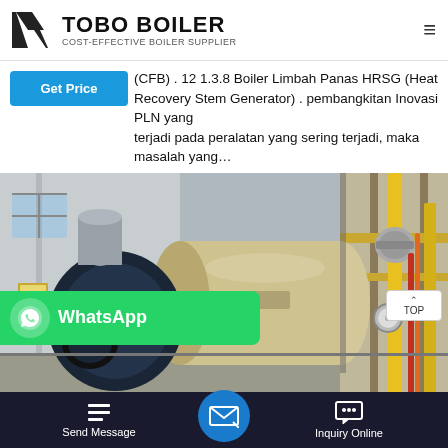TOBO BOILER — COST-EFFECTIVE BOILER SUPPLIER
(CFB) . 12 1.3.8 Boiler Limbah Panas HRSG (Heat Recovery Steam Generator) . pembangkitan Inovasi PLN yang terjadi pada peralatan yang sering terjadi, maka masalah yang…
[Figure (photo): Industrial gas-fired boiler unit with blue/dark burner assembly on the left, large cylindrical tank body in the center, yellow gas pipes and fittings on the right, installed in an industrial facility.]
WhatsApp
Send Message
Inquiry Online